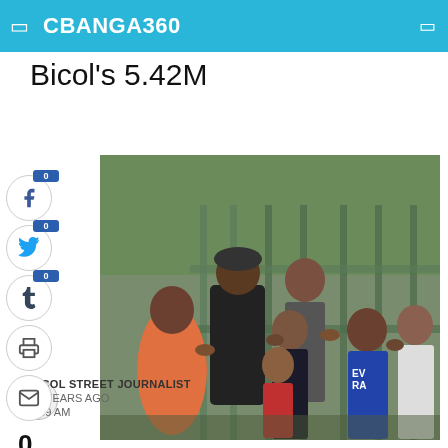CBANGA360
Bicol's 5.42M
[Figure (photo): Group of Filipino children and teenagers posing outdoors near a fence, smiling and making gestures at the camera]
BICOL STREET JOURNALIST
10 YEARS AGO
7:59 AM